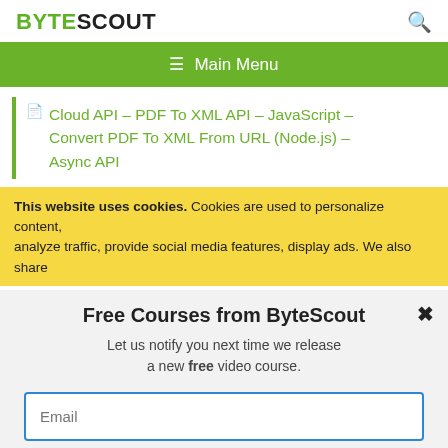BYTESCOUT
[Figure (other): Green navigation bar with hamburger menu icon and Main Menu label]
Cloud API – PDF To XML API – JavaScript – Convert PDF To XML From URL (Node.js) – Async API
This website uses cookies. Cookies are used to personalize content, analyze traffic, provide social media features, display ads. We also share
Free Courses from ByteScout
Let us notify you next time we release a new free video course.
Email
SUBSCRIBE